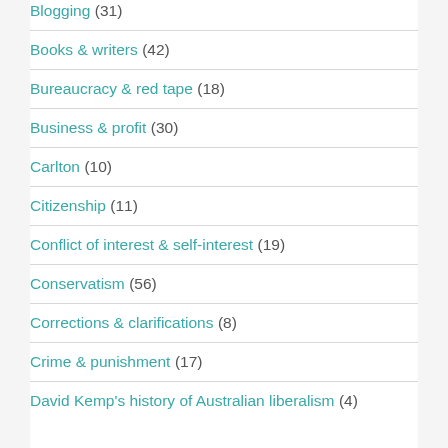Blogging (31)
Books & writers (42)
Bureaucracy & red tape (18)
Business & profit (30)
Carlton (10)
Citizenship (11)
Conflict of interest & self-interest (19)
Conservatism (56)
Corrections & clarifications (8)
Crime & punishment (17)
David Kemp's history of Australian liberalism (4)